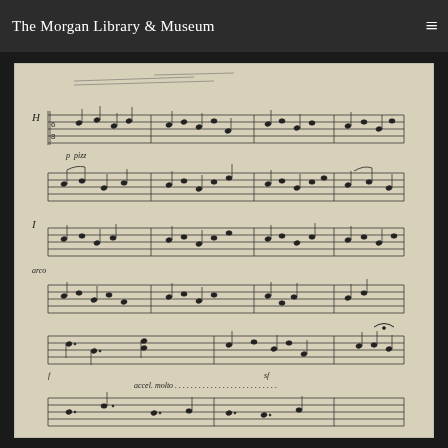The Morgan Library & Museum
[Figure (illustration): A page of handwritten musical manuscript notation on cream/beige paper, showing multiple staves of music with notes, dynamics markings (pizz, arco, sf, ff), tempo/technique markings (accel. molto), and rehearsal letters H and I. The manuscript appears to be an orchestral or chamber music score page from a historical music manuscript held at the Morgan Library & Museum.]